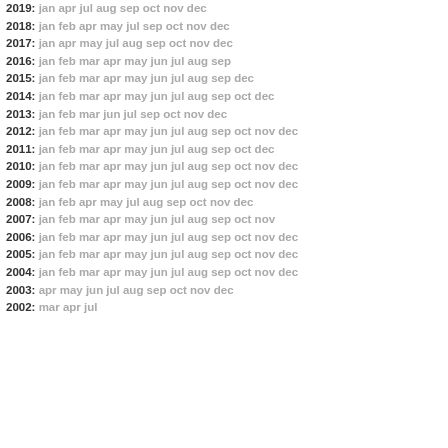2019: jan apr jul aug sep oct nov dec
2018: jan feb apr may jul sep oct nov dec
2017: jan apr may jul aug sep oct nov dec
2016: jan feb mar apr may jun jul aug sep
2015: jan feb mar apr may jun jul aug sep dec
2014: jan feb mar apr may jun jul aug sep oct dec
2013: jan feb mar jun jul sep oct nov dec
2012: jan feb mar apr may jun jul aug sep oct nov dec
2011: jan feb mar apr may jun jul aug sep oct dec
2010: jan feb mar apr may jun jul aug sep oct nov dec
2009: jan feb mar apr may jun jul aug sep oct nov dec
2008: jan feb apr may jul aug sep oct nov dec
2007: jan feb mar apr may jun jul aug sep oct nov
2006: jan feb mar apr may jun jul aug sep oct nov dec
2005: jan feb mar apr may jun jul aug sep oct nov dec
2004: jan feb mar apr may jun jul aug sep oct nov dec
2003: apr may jun jul aug sep oct nov dec
2002: mar apr jul